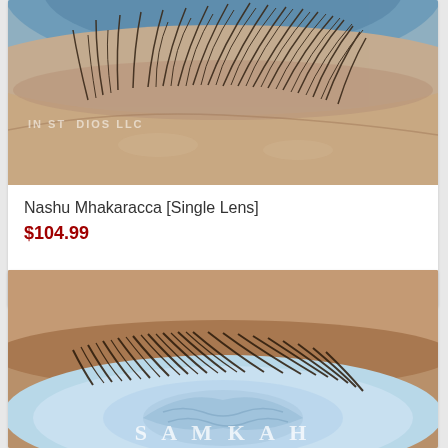[Figure (photo): Close-up macro photograph of a human eye from below, showing upper eyelid with eyelashes against skin, with a blue iris and watermark text 'IN STUDIOS LLC' visible]
Nashu Mhakaracca [Single Lens]
$104.99
Select options
[Figure (photo): Close-up macro photograph of a human eye from above showing lower eyelid with eyelashes and a light blue contact lens with decorative pattern, with watermark text 'SAMKAH' visible at bottom]